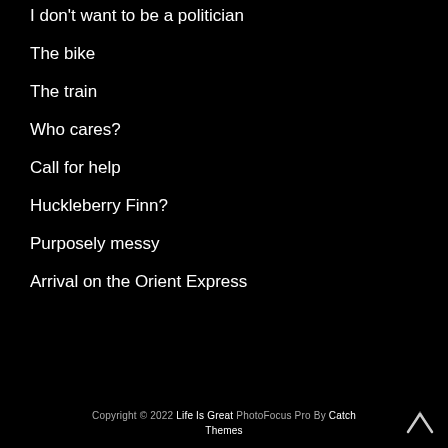I don't want to be a politician
The bike
The train
Who cares?
Call for help
Huckleberry Finn?
Purposely messy
Arrival on the Orient Express
Copyright © 2022 Life Is Great PhotoFocus Pro By Catch Themes